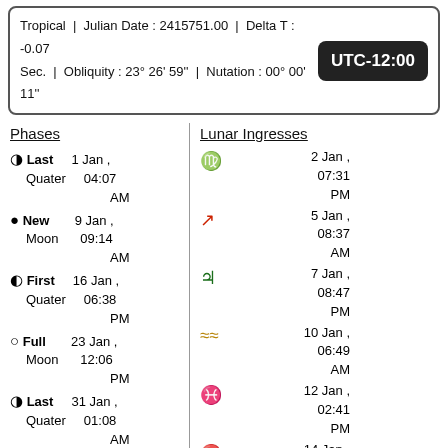Tropical | Julian Date : 2415751.00 | Delta T : -0.07 Sec. | Obliquity : 23° 26' 59'' | Nutation : 00° 00' 11''
UTC-12:00
Phases
Lunar Ingresses
Last Quater  1 Jan , 04:07 AM
New Moon  9 Jan , 09:14 AM
First Quater  16 Jan , 06:38 PM
Full Moon  23 Jan , 12:06 PM
Last Quater  31 Jan , 01:08 AM
Capricorn  2 Jan , 07:31 PM
Sagittarius  5 Jan , 08:37 AM
Capricorn  7 Jan , 08:47 PM
Aquarius  10 Jan , 06:49 AM
Pisces  12 Jan , 02:41 PM
Aries  14 Jan , 08:44 PM
Solar Eclipses
None.